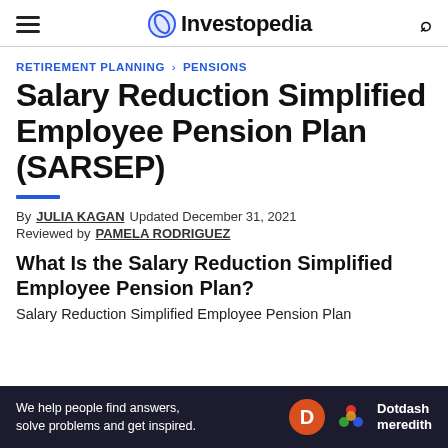Investopedia
RETIREMENT PLANNING > PENSIONS
Salary Reduction Simplified Employee Pension Plan (SARSEP)
By JULIA KAGAN  Updated December 31, 2021
Reviewed by  PAMELA RODRIGUEZ
What Is the Salary Reduction Simplified Employee Pension Plan?
Salary Reduction Simplified Employee Pension Plan
[Figure (other): Dotdash Meredith advertisement banner: 'We help people find answers, solve problems and get inspired.']